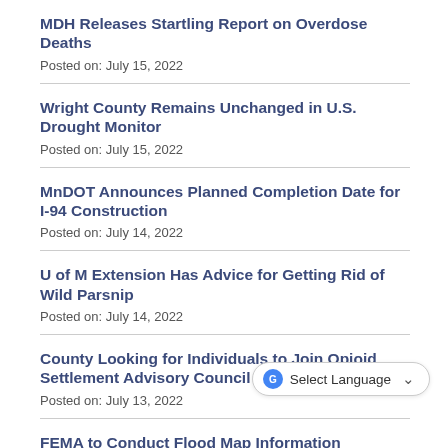MDH Releases Startling Report on Overdose Deaths
Posted on: July 15, 2022
Wright County Remains Unchanged in U.S. Drought Monitor
Posted on: July 15, 2022
MnDOT Announces Planned Completion Date for I-94 Construction
Posted on: July 14, 2022
U of M Extension Has Advice for Getting Rid of Wild Parsnip
Posted on: July 14, 2022
County Looking for Individuals to Join Opioid Settlement Advisory Council
Posted on: July 13, 2022
FEMA to Conduct Flood Map Information